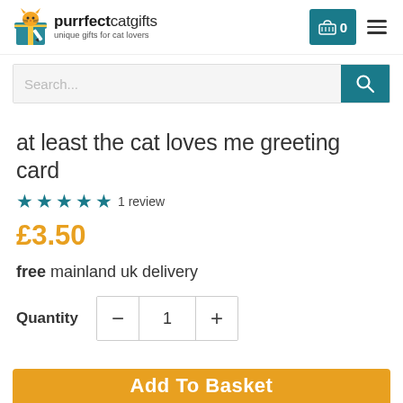[Figure (logo): Purrfect Cat Gifts logo with cartoon cat in a gift box and text 'purrfectcatgifts - unique gifts for cat lovers']
at least the cat loves me greeting card
★★★★★ 1 review
£3.50
free mainland uk delivery
Quantity — 1 +
Add To Basket